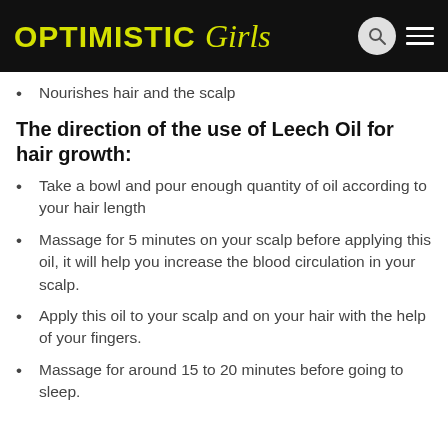OPTIMISTIC Girls
Nourishes hair and the scalp
The direction of the use of Leech Oil for hair growth:
Take a bowl and pour enough quantity of oil according to your hair length
Massage for 5 minutes on your scalp before applying this oil, it will help you increase the blood circulation in your scalp.
Apply this oil to your scalp and on your hair with the help of your fingers.
Massage for around 15 to 20 minutes before going to sleep.